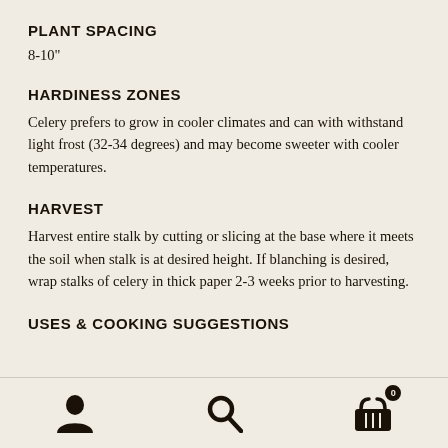PLANT SPACING
8-10"
HARDINESS ZONES
Celery prefers to grow in cooler climates and can with withstand light frost (32-34 degrees) and may become sweeter with cooler temperatures.
HARVEST
Harvest entire stalk by cutting or slicing at the base where it meets the soil when stalk is at desired height. If blanching is desired, wrap stalks of celery in thick paper 2-3 weeks prior to harvesting.
USES & COOKING SUGGESTIONS
[Figure (infographic): Bottom navigation bar with three icons: user/account icon, search/magnifying glass icon, and shopping basket icon with a badge showing 0]